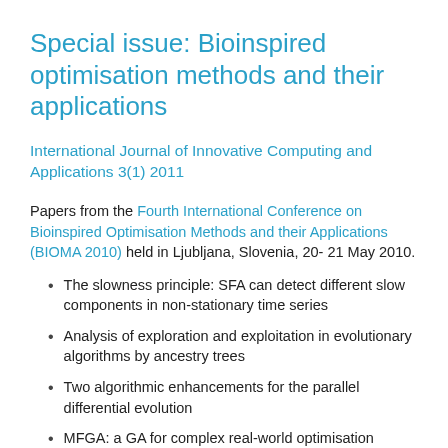Special issue: Bioinspired optimisation methods and their applications
International Journal of Innovative Computing and Applications 3(1) 2011
Papers from the Fourth International Conference on Bioinspired Optimisation Methods and their Applications (BIOMA 2010) held in Ljubljana, Slovenia, 20- 21 May 2010.
The slowness principle: SFA can detect different slow components in non-stationary time series
Analysis of exploration and exploitation in evolutionary algorithms by ancestry trees
Two algorithmic enhancements for the parallel differential evolution
MFGA: a GA for complex real-world optimisation problems
Days-off scheduling for a bus transportation company